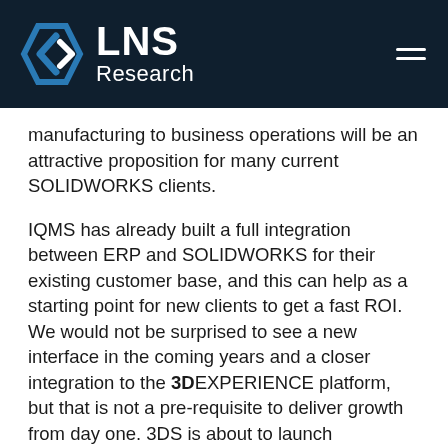LNS Research
manufacturing to business operations will be an attractive proposition for many current SOLIDWORKS clients.
IQMS has already built a full integration between ERP and SOLIDWORKS for their existing customer base, and this can help as a starting point for new clients to get a fast ROI. We would not be surprised to see a new interface in the coming years and a closer integration to the 3DEXPERIENCE platform, but that is not a pre-requisite to deliver growth from day one. 3DS is about to launch SOLIDWORKS as a fully cloud supported product, and this should help the integration.